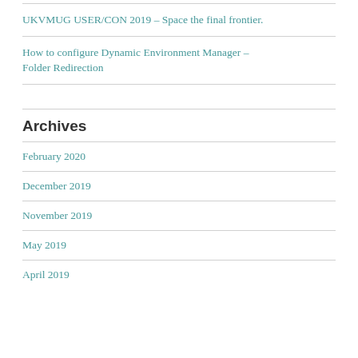UKVMUG USER/CON 2019 – Space the final frontier.
How to configure Dynamic Environment Manager – Folder Redirection
Archives
February 2020
December 2019
November 2019
May 2019
April 2019